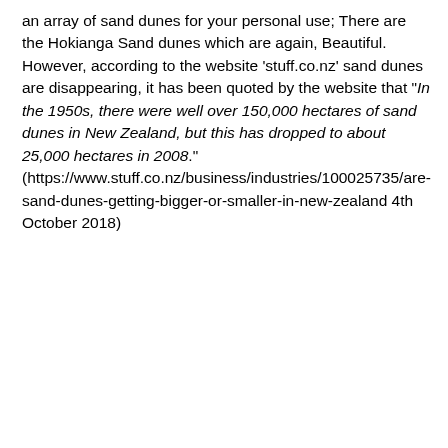an array of sand dunes for your personal use; There are the Hokianga Sand dunes which are again, Beautiful. However, according to the website 'stuff.co.nz' sand dunes are disappearing, it has been quoted by the website that "In the 1950s, there were well over 150,000 hectares of sand dunes in New Zealand, but this has dropped to about 25,000 hectares in 2008." (https://www.stuff.co.nz/business/industries/100025735/are-sand-dunes-getting-bigger-or-smaller-in-new-zealand 4th October 2018)